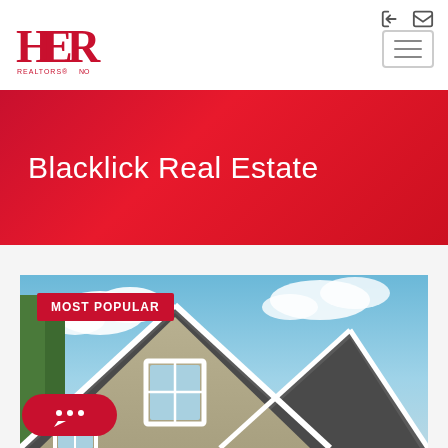[Figure (logo): HER Realtors logo in red with stylized H, E, R letters]
Blacklick Real Estate
[Figure (photo): Exterior photo of a residential house showing roof gables, siding, and windows against a blue sky with clouds. A badge reading MOST POPULAR appears in the upper left corner.]
MOST POPULAR